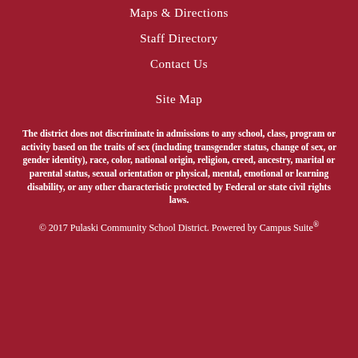Maps & Directions
Staff Directory
Contact Us
Site Map
The district does not discriminate in admissions to any school, class, program or activity based on the traits of sex (including transgender status, change of sex, or gender identity), race, color, national origin, religion, creed, ancestry, marital or parental status, sexual orientation or physical, mental, emotional or learning disability, or any other characteristic protected by Federal or state civil rights laws.
© 2017 Pulaski Community School District. Powered by Campus Suite®